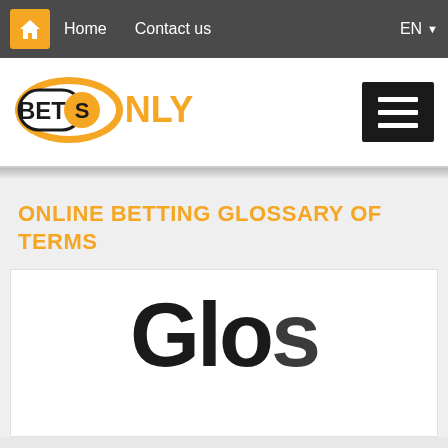Home  Contact us  EN
[Figure (logo): BetsOnly logo with orange oval pill shape containing BETS in bold black and ONLY in bold orange text]
ONLINE BETTING GLOSSARY OF TERMS
[Figure (illustration): Partial large bold text reading 'Glo...' (beginning of word Glossary) cropped at bottom of image box]